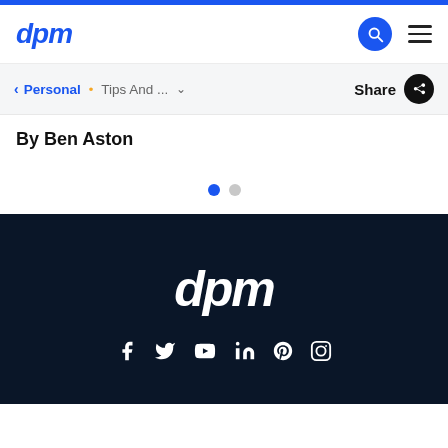dpm
< Personal • Tips And ... ∨    Share
By Ben Aston
[Figure (other): Carousel pagination dots: one blue active dot and one grey inactive dot]
dpm — footer with social media icons (Facebook, Twitter, YouTube, LinkedIn, Pinterest, Instagram)